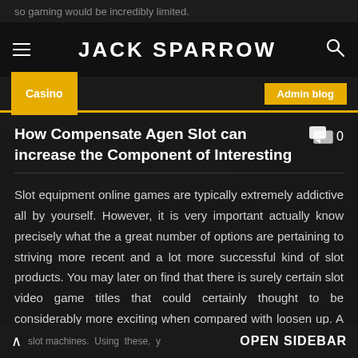so gaming would be incredibly limited.
JACK SPARROW
Casino | Admin blog
How Compensate Agen Slot can increase the Component of Interesting
Slot equipment online games are typically extremely addictive all by yourself. However, it is very important actually know precisely what the a great number of options are pertaining to striving more recent and a lot more successful kind of slot products. You may later on find that there is surely certain slot video game titles that could certainly thought to be considerably more exciting when compared with loosen up. A vital element which permits slot video game titles far more pleasurable is to have added prize slot machines. Using these, y
slot machines. Using these, y   OPEN SIDEBAR